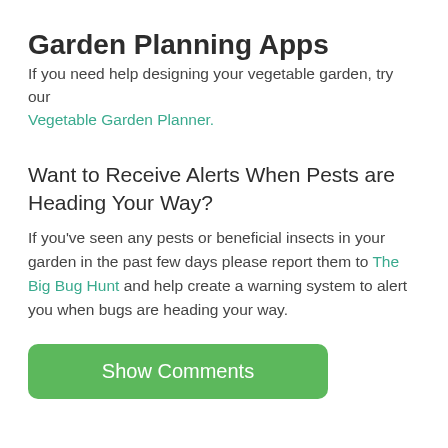Garden Planning Apps
If you need help designing your vegetable garden, try our Vegetable Garden Planner.
Want to Receive Alerts When Pests are Heading Your Way?
If you've seen any pests or beneficial insects in your garden in the past few days please report them to The Big Bug Hunt and help create a warning system to alert you when bugs are heading your way.
Show Comments